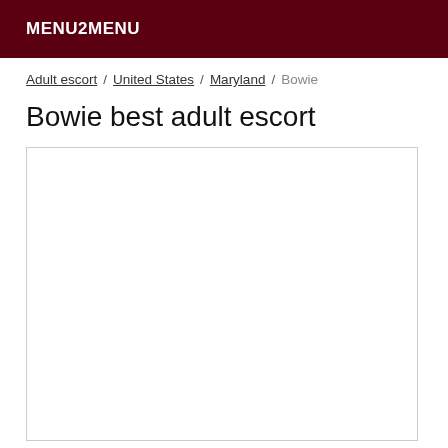MENU2MENU
Adult escort / United States / Maryland / Bowie
Bowie best adult escort
[Figure (other): Empty white content box with border, placeholder for listing content]